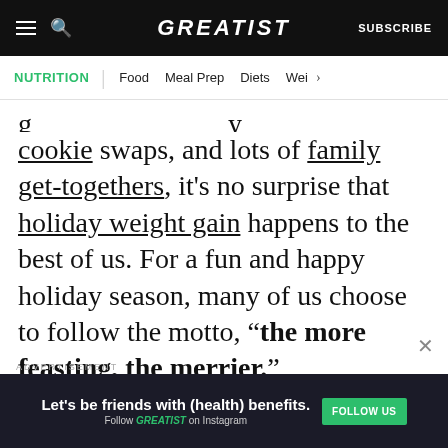GREATIST | SUBSCRIBE
NUTRITION | Food | Meal Prep | Diets | Wei >
cookie swaps, and lots of family get-togethers, it's no surprise that holiday weight gain happens to the best of us. For a fun and happy holiday season, many of us choose to follow the motto, "the more feasting, the merrier."
ADVERTISEMENT
ADVERTISEMENT
[Figure (other): Advertisement banner: Let's be friends with (health) benefits. Follow GREATIST on Instagram. FOLLOW US button.]